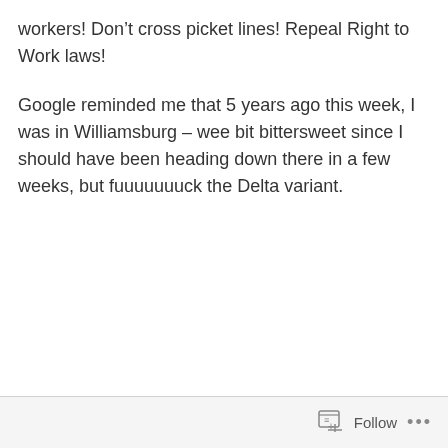workers! Don't cross picket lines! Repeal Right to Work laws!
Google reminded me that 5 years ago this week, I was in Williamsburg – wee bit bittersweet since I should have been heading down there in a few weeks, but fuuuuuuuck the Delta variant.
Follow ...